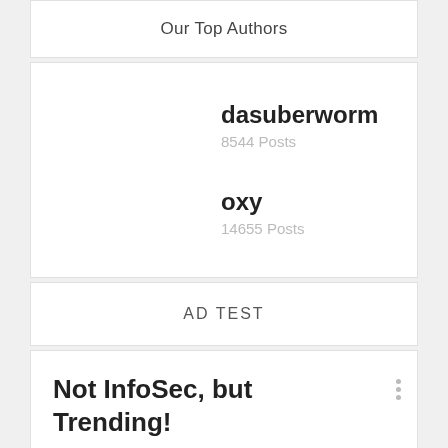Our Top Authors
dasuberworm
8544 Posts
oxy
14655 Posts
AD TEST
Not InfoSec, but Trending!
[Figure (photo): Outdoor photo showing people with green trees in background]